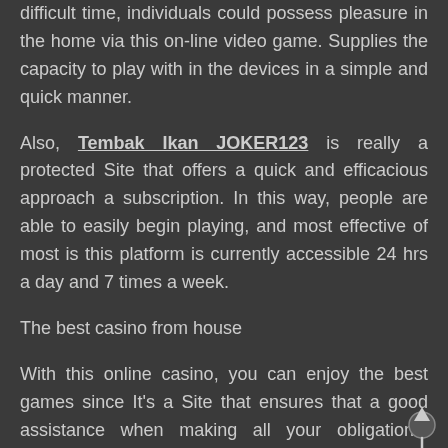difficult time, individuals could possess pleasure in the home via this on-line video game. Supplies the capacity to play with in the devices in a simple and quick manner.
Also, Tembak Ikan JOKER123 is really a protected Site that offers a quick and efficacious approach a subscription. In this way, people are able to easily begin playing, and most effective of most is this platform is currently accessible 24 hrs a day and 7 times a week.
The best casino from house
With this online casino, you can enjoy the best games since It's a Site that ensures that a good assistance when making all your obligations. Individuals are able to begin playing simply once